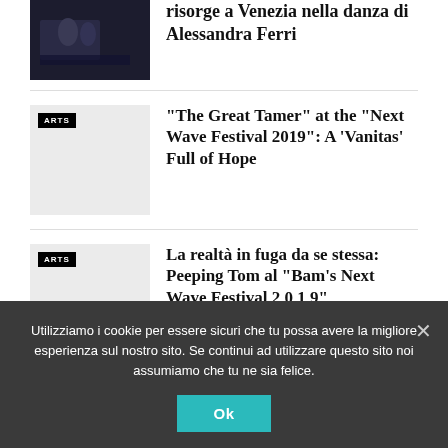[Figure (photo): Dark theatre/stage photo with figures, partially cropped at top]
risorge a Venezia nella danza di Alessandra Ferri
[Figure (photo): Light grey placeholder image with ARTS badge]
“The Great Tamer” at the “Next Wave Festival 2019”: A ‘Vanitas’ Full of Hope
[Figure (photo): Light grey placeholder image with ARTS badge]
La realtà in fuga da se stessa: Peeping Tom al “Bam’s Next Wave Festival 2 0 1 9”
Utilizziamo i cookie per essere sicuri che tu possa avere la migliore esperienza sul nostro sito. Se continui ad utilizzare questo sito noi assumiamo che tu ne sia felice.